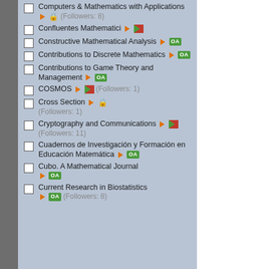Computers & Mathematics with Applications ► 🔒 (Followers: 8)
Confluentes Mathematici ► [flag]
Constructive Mathematical Analysis ► OA
Contributions to Discrete Mathematics ► OA
Contributions to Game Theory and Management ► OA
COSMOS ► [flag] (Followers: 1)
Cross Section ► 🔒 (Followers: 1)
Cryptography and Communications ► [flag] (Followers: 11)
Cuadernos de Investigación y Formación en Educación Matemática ► OA
Cubo. A Mathematical Journal ► OA
Current Research in Biostatistics ► OA (Followers: 8)